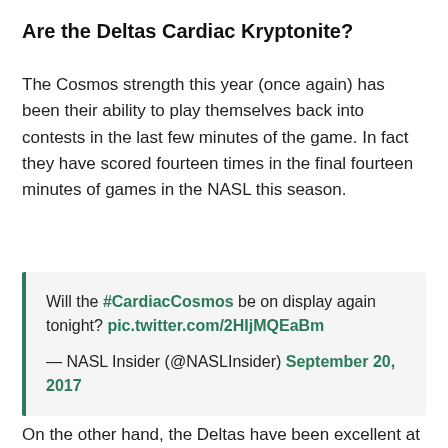Are the Deltas Cardiac Kryptonite?
The Cosmos strength this year (once again) has been their ability to play themselves back into contests in the last few minutes of the game. In fact they have scored fourteen times in the final fourteen minutes of games in the NASL this season.
Will the #CardiacCosmos be on display again tonight? pic.twitter.com/2HIjMQEaBm

— NASL Insider (@NASLInsider) September 20, 2017
On the other hand, the Deltas have been excellent at